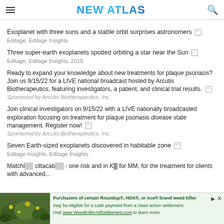NEW ATLAS
Exoplanet with three suns and a stable orbit surprises astronomers
Three super-earth exoplanets spotted orbiting a star near the Sun
Ready to expand your knowledge about new treatments for plaque psoriasis? Join us 9/15/22 for a LIVE national broadcast hosted by Arcutis Biotherapeutics, featuring investigators, a patient, and clinical trial results.
Join clinical investigators on 9/15/22 with a LIVE nationally broadcasted exploration focusing on treatment for plaque psoriasis disease state management. Register now!
Seven Earth-sized exoplanets discovered in habitable zone
Matchi... ciltacab... one risk and in K for MM, for the treatment for clients with advanced...
[Figure (screenshot): Advertisement banner — Purchasers of certain Roundup®, HDX®, or Ace® brand weed killer may be eligible for a cash payment from a class action settlement. Visit www.WeedKillerAdSettlement.com to learn more.]